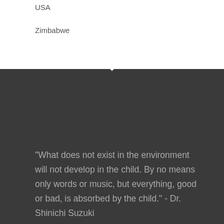USA
Zimbabwe
"What does not exist in the environment will not develop in the child. By no means only words or music, but everything, good or bad, is absorbed by the child." - Dr. Shinichi Suzuki
[Figure (photo): Black and white photograph of Dr. Shinichi Suzuki, showing his face and upper body, elderly Asian man smiling slightly]